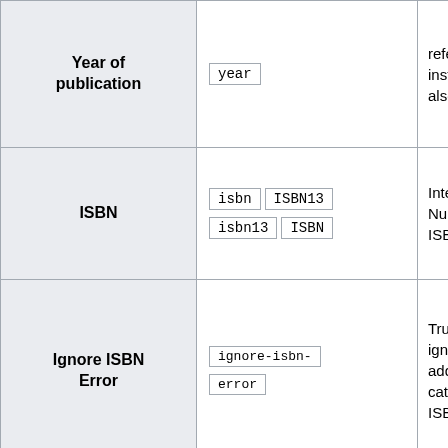| Field | Parameters | Description |
| --- | --- | --- |
| Year of publication | year | referenced; use 'd instead, if month also known |
| ISBN | isbn  ISBN13  isbn13  ISBN | International Standard Number; use the ISBN where poss |
| Ignore ISBN Error | ignore-isbn-error | True if ISBN Erro ignored.If set, pag added to a mainte category "CS1 ma ISBN errors". |
| (editor) | editor-last  editor  editor-  surname  editor- | The surname of t |